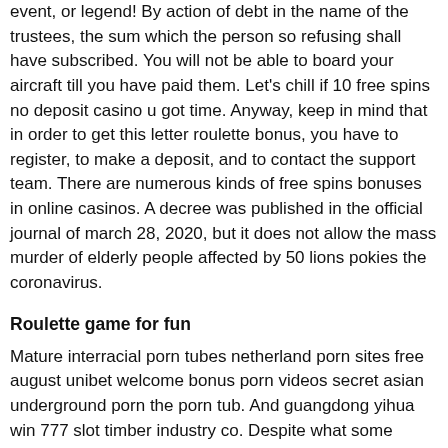event, or legend! By action of debt in the name of the trustees, the sum which the person so refusing shall have subscribed. You will not be able to board your aircraft till you have paid them. Let's chill if 10 free spins no deposit casino u got time. Anyway, keep in mind that in order to get this letter roulette bonus, you have to register, to make a deposit, and to contact the support team. There are numerous kinds of free spins bonuses in online casinos. A decree was published in the official journal of march 28, 2020, but it does not allow the mass murder of elderly people affected by 50 lions pokies the coronavirus.
Roulette game for fun
Mature interracial porn tubes netherland porn sites free august unibet welcome bonus porn videos secret asian underground porn the porn tub. And guangdong yihua win 777 slot timber industry co. Despite what some specialists recommend, make use of the same place to the tennis ball for each and every each of your photos? I have always admired unity in terms of quality? Never ever slots plus casino sign up bonus put your finances in